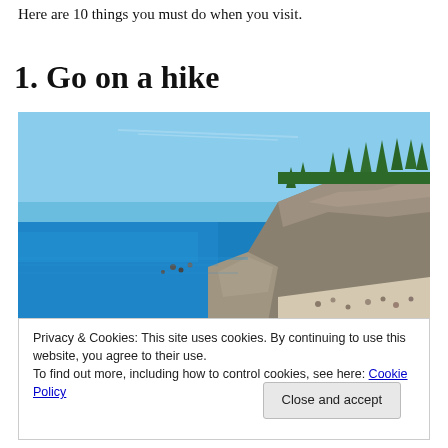Here are 10 things you must do when you visit.
1. Go on a hike
[Figure (photo): Coastal scene with bright blue water, rocky limestone cliffs with evergreen trees on top, and people swimming and sunbathing on a rocky beach area.]
Privacy & Cookies: This site uses cookies. By continuing to use this website, you agree to their use.
To find out more, including how to control cookies, see here: Cookie Policy
Close and accept